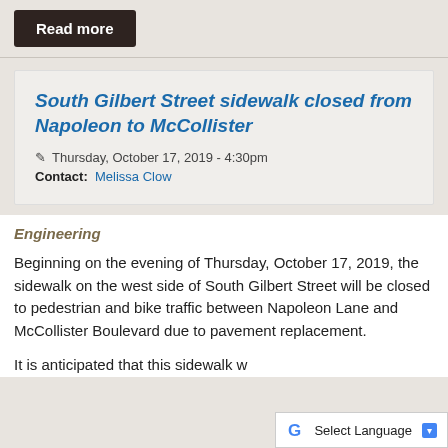Read more
South Gilbert Street sidewalk closed from Napoleon to McCollister
Thursday, October 17, 2019 - 4:30pm
Contact: Melissa Clow
Engineering
Beginning on the evening of Thursday, October 17, 2019, the sidewalk on the west side of South Gilbert Street will be closed to pedestrian and bike traffic between Napoleon Lane and McCollister Boulevard due to pavement replacement.
It is anticipated that this sidewalk will reopen on Monday, Oct. 20, 2019.